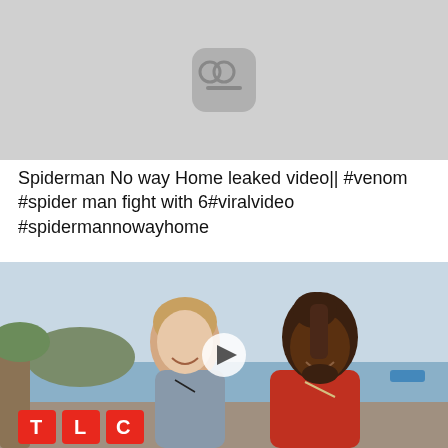[Figure (screenshot): Gray thumbnail with a play button icon (video placeholder)]
Spiderman No way Home leaked video|| #venom #spider man fight with 6#viralvideo #spidermannowayhome
[Figure (photo): Photo of a smiling white woman and a smiling Black man with dreadlocks on a tropical beach, with a TLC logo in the bottom left and a play button overlay in the center]